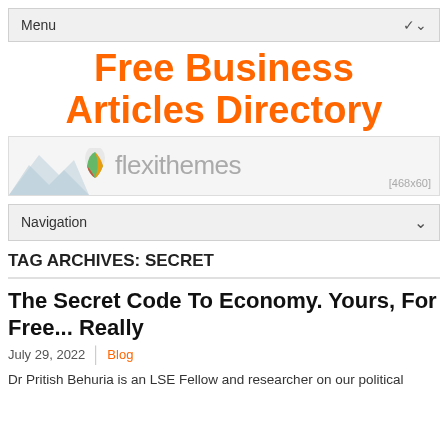Menu
Free Business Articles Directory
[Figure (logo): Flexithemes banner logo with mountain silhouette, colorful leaf icon, and gray text reading 'flexithemes'. Size label [468x60] in bottom right.]
Navigation
TAG ARCHIVES: SECRET
The Secret Code To Economy. Yours, For Free... Really
July 29, 2022  |  Blog
Dr Pritish Behuria is an LSE Fellow and researcher on our political